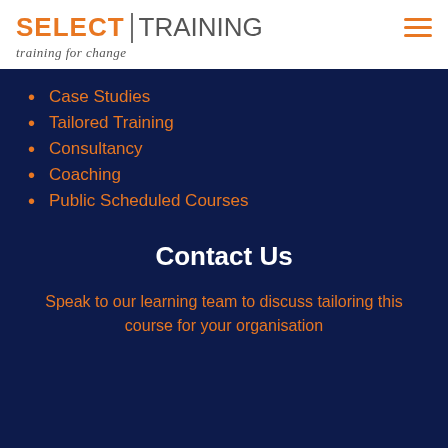SELECT | TRAINING training for change
Case Studies
Tailored Training
Consultancy
Coaching
Public Scheduled Courses
Contact Us
Speak to our learning team to discuss tailoring this course for your organisation
BRITISH